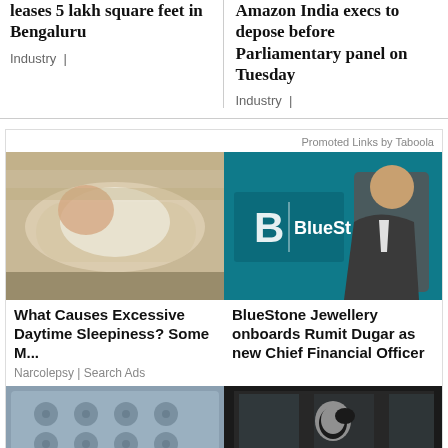leases 5 lakh square feet in Bengaluru
Industry |
Amazon India execs to depose before Parliamentary panel on Tuesday
Industry |
Promoted Links by Taboola
[Figure (photo): Person lying in bed, appearing sleepy]
What Causes Excessive Daytime Sleepiness? Some M...
Narcolepsy | Search Ads
[Figure (photo): Man in suit with BlueStone Jewellery logo on teal background]
BlueStone Jewellery onboards Rumit Dugar as new Chief Financial Officer
[Figure (photo): Tufted headboard or cushioned furniture in blue-grey]
[Figure (photo): Apple store with logo visible]